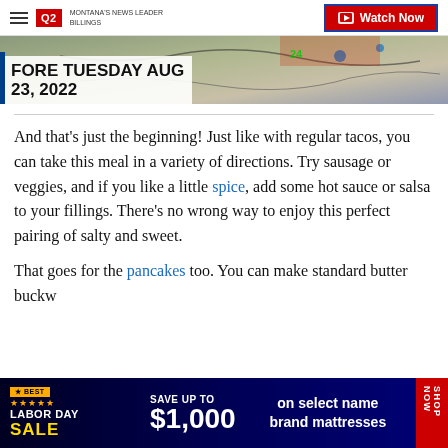Q2 MONTANA'S NEWS LEADER | Watch Now
[Figure (photo): Hero image with map/forecast overlay, with article title 'FORE TUESDAY AUG 23, 2022' overlaid on lower portion]
FORE TUESDAY AUG 23, 2022
And that's just the beginning! Just like with regular tacos, you can take this meal in a variety of directions. Try sausage or veggies, and if you like a little spice, add some hot sauce or salsa to your fillings. There's no wrong way to enjoy this perfect pairing of salty and sweet.
That goes for the pancakes too. You can make standard butter, buckw...
[Figure (infographic): Labor Day Sale advertisement banner: SAVE UP TO $1,000 on select name brand mattresses. SHOP NOW.]